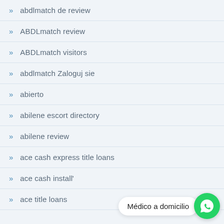abdlmatch de review
ABDLmatch review
ABDLmatch visitors
abdlmatch Zaloguj sie
abierto
abilene escort directory
abilene review
ace cash express title loans
ace cash instali…
ace title loans